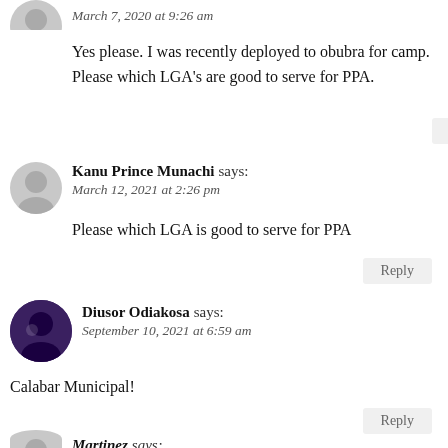March 7, 2020 at 9:26 am
Yes please. I was recently deployed to obubra for camp.
Please which LGA's are good to serve for PPA.
Reply
Kanu Prince Munachi says:
March 12, 2021 at 2:26 pm
Please which LGA is good to serve for PPA
Reply
Diusor Odiakosa says:
September 10, 2021 at 6:59 am
Calabar Municipal!
Reply
Martinez says: